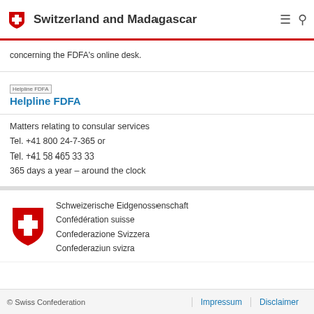Switzerland and Madagascar
concerning the FDFA’s online desk.
[Figure (illustration): Small icon placeholder labeled 'Helpline FDFA']
Helpline FDFA
Matters relating to consular services
Tel. +41 800 24-7-365 or
Tel. +41 58 465 33 33
365 days a year – around the clock
[Figure (logo): Swiss Confederation red shield logo with white cross]
Schweizerische Eidgenossenschaft
Confédération suisse
Confederazione Svizzera
Confederaziun svizra
© Swiss Confederation   Impressum   Disclaimer